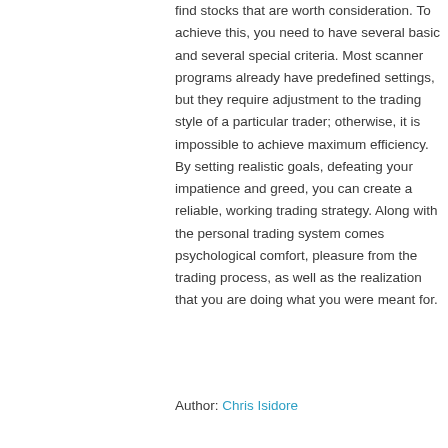find stocks that are worth consideration. To achieve this, you need to have several basic and several special criteria. Most scanner programs already have predefined settings, but they require adjustment to the trading style of a particular trader; otherwise, it is impossible to achieve maximum efficiency. By setting realistic goals, defeating your impatience and greed, you can create a reliable, working trading strategy. Along with the personal trading system comes psychological comfort, pleasure from the trading process, as well as the realization that you are doing what you were meant for.
Author: Chris Isidore